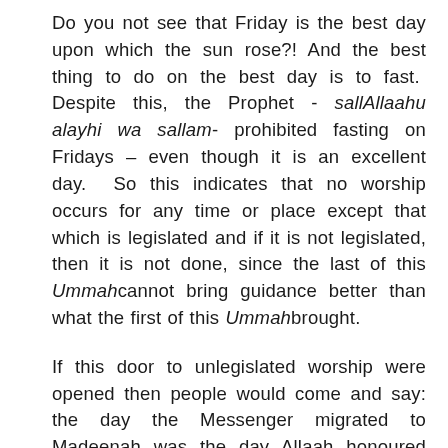Do you not see that Friday is the best day upon which the sun rose?! And the best thing to do on the best day is to fast.  Despite this, the Prophet - sallAllaahu alayhi wa sallam- prohibited fasting on Fridays – even though it is an excellent day.  So this indicates that no worship occurs for any time or place except that which is legislated and if it is not legislated, then it is not done, since the last of this Ummahcannot bring guidance better than what the first of this Ummahbrought.
If this door to unlegislated worship were opened then people would come and say: the day the Messenger migrated to Madeenah was the day Allaah honoured Islaam, so there should be a gathering and worship should be performed!